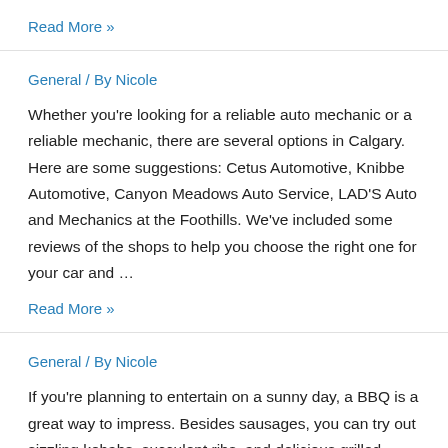Read More »
General / By Nicole
Whether you're looking for a reliable auto mechanic or a reliable mechanic, there are several options in Calgary. Here are some suggestions: Cetus Automotive, Knibbe Automotive, Canyon Meadows Auto Service, LAD'S Auto and Mechanics at the Foothills. We've included some reviews of the shops to help you choose the right one for your car and …
Read More »
General / By Nicole
If you're planning to entertain on a sunny day, a BBQ is a great way to impress. Besides sausages, you can try out sizzling kebabs, succulent ribs, and delicious grilled vegetables. And don't